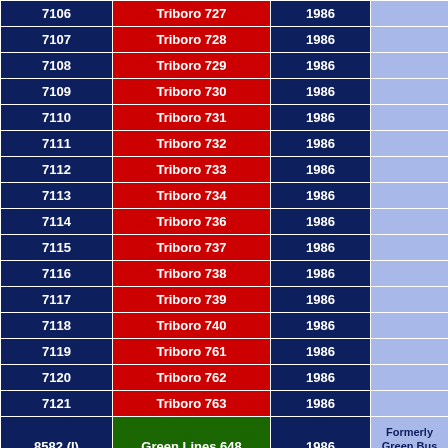| ID | Name | Year | Notes |
| --- | --- | --- | --- |
| 7106 | Triboro 727 | 1986 |  |
| 7107 | Triboro 728 | 1986 |  |
| 7108 | Triboro 729 | 1986 |  |
| 7109 | Triboro 730 | 1986 |  |
| 7110 | Triboro 731 | 1986 |  |
| 7111 | Triboro 732 | 1986 |  |
| 7112 | Triboro 733 | 1986 |  |
| 7113 | Triboro 734 | 1986 |  |
| 7114 | Triboro 736 | 1986 |  |
| 7115 | Triboro 737 | 1986 |  |
| 7116 | Triboro 738 | 1986 |  |
| 7117 | Triboro 739 | 1986 |  |
| 7118 | Triboro 740 | 1986 |  |
| 7119 | Triboro 761 | 1986 |  |
| 7120 | Triboro 762 | 1986 |  |
| 7121 | Triboro 763 | 1986 |  |
| 8582 (I) | Green Lines 648 | 1986 | Formerly Green Bus Lines #609 |